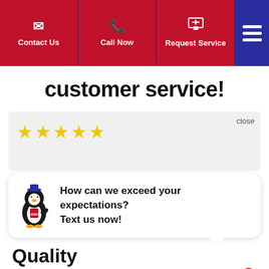Contact Us | Call Now | Request Service
customer service!
[Figure (screenshot): Five yellow star rating in a review card]
[Figure (infographic): Chat bubble with penguin mascot: How can we exceed your expectations? Text us now!]
Quality
[Figure (infographic): Three yellow stars and two empty stars for Quality rating]
Price
[Figure (infographic): Partial star rating row for Price, partially visible]
[Figure (infographic): SMS badge with notification count 1]